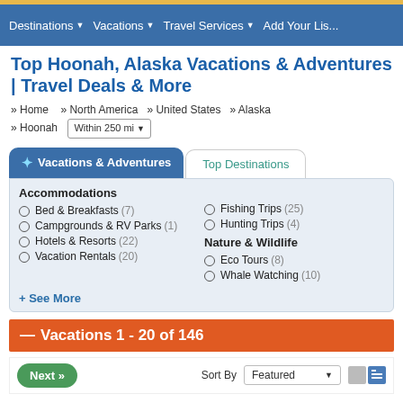Destinations | Vacations | Travel Services | Add Your Listing
Top Hoonah, Alaska Vacations & Adventures | Travel Deals & More
» Home » North America » United States » Alaska » Hoonah  Within 250 mi
✦ Vacations & Adventures
Top Destinations
Accommodations
Bed & Breakfasts (7)
Campgrounds & RV Parks (1)
Hotels & Resorts (22)
Vacation Rentals (20)
Fishing Trips (25)
Hunting Trips (4)
Nature & Wildlife
Eco Tours (8)
Whale Watching (10)
+ See More
— Vacations 1 - 20 of 146
Next »  Sort By  Featured